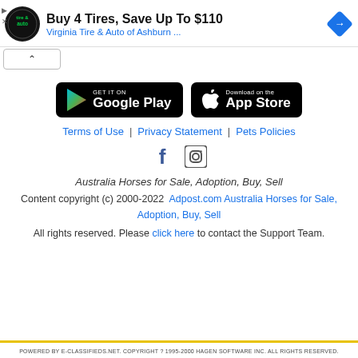[Figure (screenshot): Advertisement banner: Buy 4 Tires, Save Up To $110 - Virginia Tire & Auto of Ashburn ... with logo and navigation arrow icon]
[Figure (screenshot): Google Play store badge (black rounded rectangle)]
[Figure (screenshot): Apple App Store badge (black rounded rectangle)]
Terms of Use | Privacy Statement | Pets Policies
[Figure (logo): Facebook and Instagram social media icons]
Australia Horses for Sale, Adoption, Buy, Sell
Content copyright (c) 2000-2022 Adpost.com Australia Horses for Sale, Adoption, Buy, Sell
All rights reserved. Please click here to contact the Support Team.
POWERED BY E-CLASSIFIEDS.NET. COPYRIGHT ? 1995-2000 HAGEN SOFTWARE INC. ALL RIGHTS RESERVED.